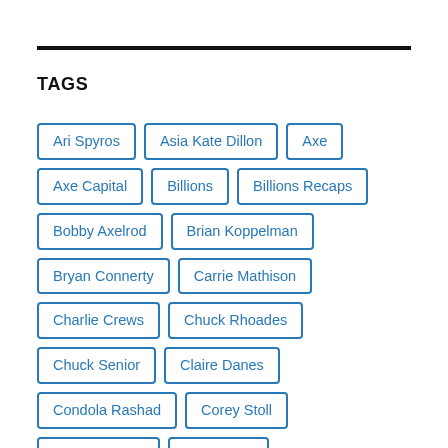TAGS
Ari Spyros
Asia Kate Dillon
Axe
Axe Capital
Billions
Billions Recaps
Bobby Axelrod
Brian Koppelman
Bryan Connerty
Carrie Mathison
Charlie Crews
Chuck Rhoades
Chuck Senior
Claire Danes
Condola Rashad
Corey Stoll
Damian Lewis
Dan Soder